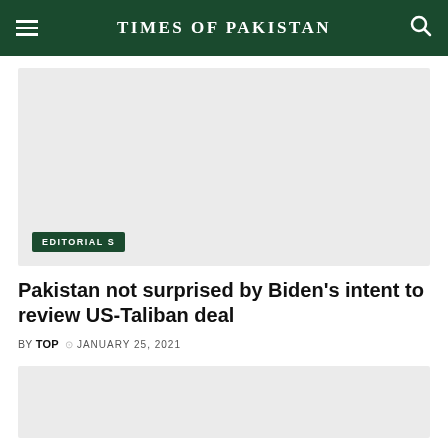TIMES OF PAKISTAN
[Figure (photo): Gray placeholder image area for article photo]
EDITORIALS
Pakistan not surprised by Biden's intent to review US-Taliban deal
BY TOP  JANUARY 25, 2021
[Figure (photo): Gray placeholder image area at bottom]